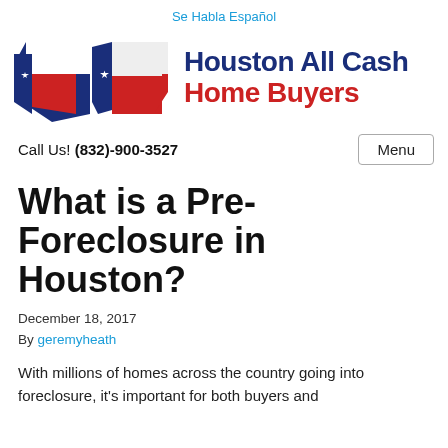Se Habla Español
[Figure (logo): Houston All Cash Home Buyers logo with Texas state flag/map icon on the left and bold blue 'Houston All Cash' and red 'Home Buyers' text on the right]
Call Us! (832)-900-3527
What is a Pre-Foreclosure in Houston?
December 18, 2017
By geremyheath
With millions of homes across the country going into foreclosure, it's important for both buyers and